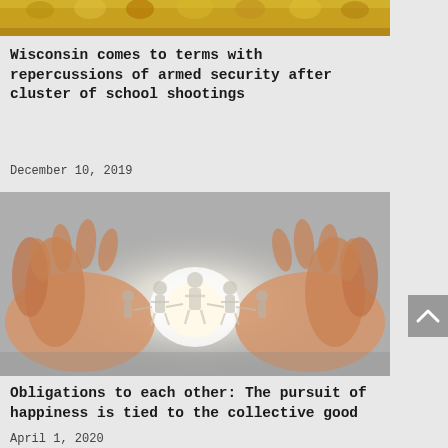[Figure (photo): Top portion of an image with golden/yellow trophy-like objects, shown partially at the top of the page]
Wisconsin comes to terms with repercussions of armed security after cluster of school shootings
December 10, 2019
[Figure (photo): Hands cupping a circle of paper cut-out human figures holding hands, with a glowing light in the center]
Obligations to each other: The pursuit of happiness is tied to the collective good
April 1, 2020